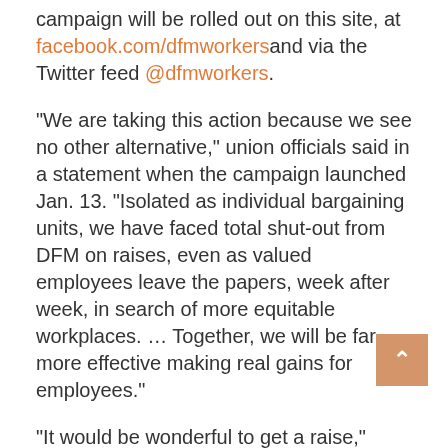campaign will be rolled out on this site, at facebook.com/dfmworkers and via the Twitter feed @dfmworkers.
“We are taking this action because we see no other alternative,” union officials said in a statement when the campaign launched Jan. 13. “Isolated as individual bargaining units, we have faced total shut-out from DFM on raises, even as valued employees leave the papers, week after week, in search of more equitable workplaces. … Together, we will be far more effective making real gains for employees.”
“It would be wonderful to get a raise,” Shainline says. “We’d just like them to show us a little more money for what we do every day.”
Share this: